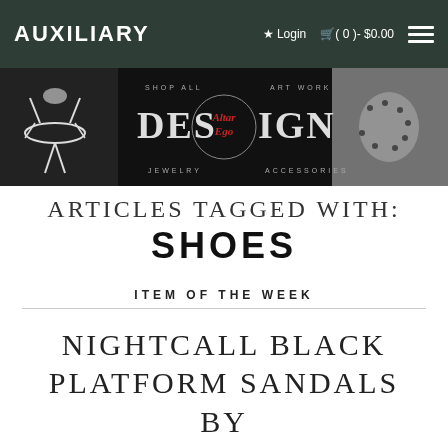AUXILIARY   ★ Login   🛒 (0)- $0.00   ☰
[Figure (illustration): Dark textured banner for 'DESIGN' with a circle logo reading 'Altar Ego' in red script, flanked by text 'SHOP ALL', 'ART WORK', 'JEWELRY', 'ACCESSORIES', with bone/skeleton imagery on the left and a back/shoulder tattoo photo on the right]
ARTICLES TAGGED WITH:
SHOES
ITEM OF THE WEEK
NIGHTCALL BLACK PLATFORM SANDALS BY YRU